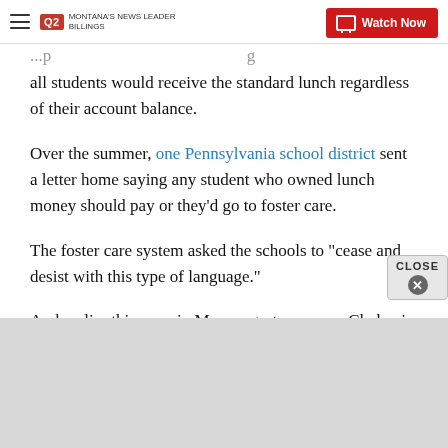Q2 MONTANA'S NEWS LEADER — Watch Now
all students would receive the standard lunch regardless of their account balance.
Over the summer, one Pennsylvania school district sent a letter home saying any student who owned lunch money should pay or they'd go to foster care.
The foster care system asked the schools to "cease and desist with this type of language."
And earlier this year, in May, yogurt company Chobani paid off the lunch debt of some students after findi